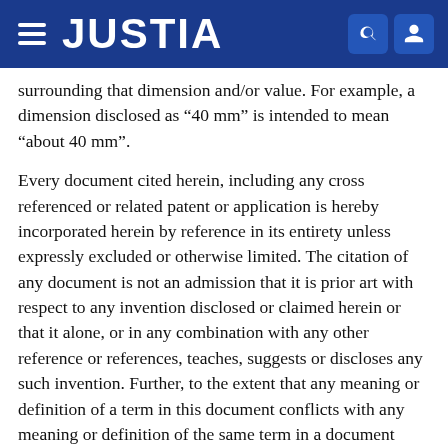JUSTIA
surrounding that dimension and/or value. For example, a dimension disclosed as “40 mm” is intended to mean “about 40 mm”.
Every document cited herein, including any cross referenced or related patent or application is hereby incorporated herein by reference in its entirety unless expressly excluded or otherwise limited. The citation of any document is not an admission that it is prior art with respect to any invention disclosed or claimed herein or that it alone, or in any combination with any other reference or references, teaches, suggests or discloses any such invention. Further, to the extent that any meaning or definition of a term in this document conflicts with any meaning or definition of the same term in a document incorporated by reference, the meaning or definition assigned to that term in this